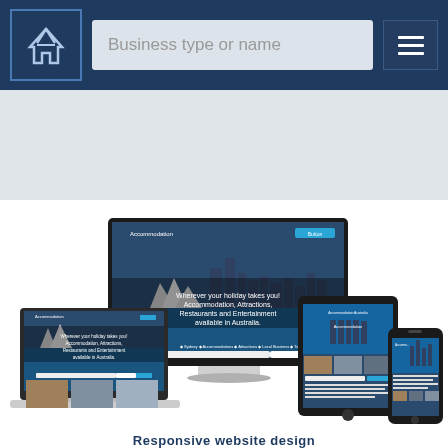[Figure (screenshot): Navigation bar with logo (house icon), search field labeled 'Business type or name', and hamburger menu icon on dark navy blue background]
[Figure (screenshot): Light gray hero/banner area below the navigation bar]
[Figure (screenshot): Responsive website mockup showing the Accommodation Australia website displayed across multiple devices: desktop monitor, laptop, tablet, and smartphone. The website shows Sydney Opera House imagery with text about Accommodation, Attractions, Restaurants and Entertainment available in Australia.]
Responsive website design